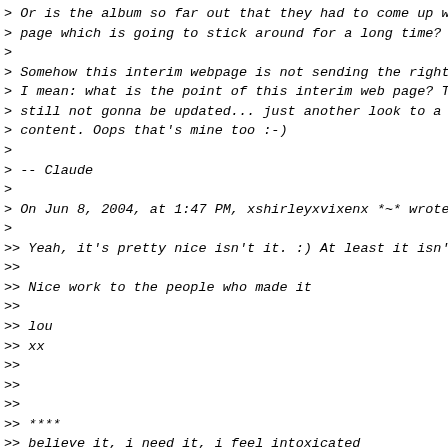> Or is the album so far out that they had to come up wi
> page which is going to stick around for a long time?
>
> Somehow this interim webpage is not sending the right s
> I mean: what is the point of this interim web page? The
> still not gonna be updated... just another look to a we
> content. Oops that's mine too :-)
>
> -- Claude
>
> On Jun 8, 2004, at 1:47 PM, xshirleyxvixenx *~* wrote:
>
>> Yeah, it's pretty nice isn't it. :) At least it isn't
>>
>> Nice work to the people who made it
>>
>> lou
>> xx
>>
>>
>>
>> ****
>> believe it, i need it, i feel intoxicated
>> i love it, i want it, dont make me leave you for it
>>
>> for a long time i was in love
>> not only in love
>> i was obsessed
>>
>> ive got to make a point these days